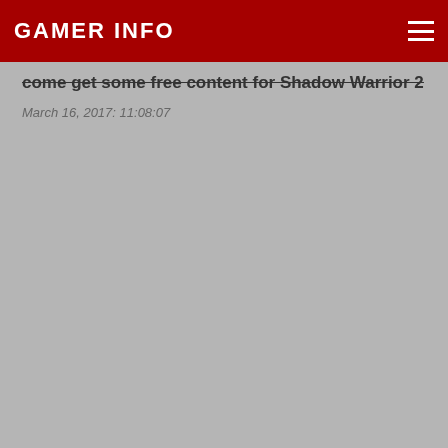GAMER INFO
come get some free content for Shadow Warrior 2
March 16, 2017: 11:08:07